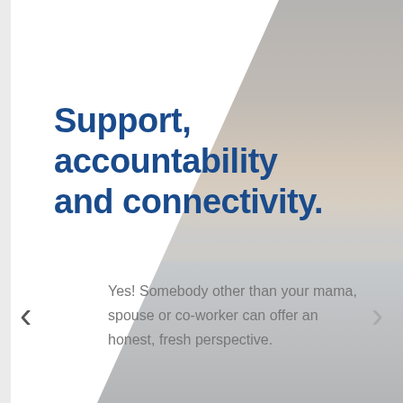[Figure (illustration): Background split design: white on upper left fading to light gray diagonally, with a dark ocean/sunset photo on the right portion of the page. Navigation arrows (< and >) on left and right sides.]
Support, accountability and connectivity.
Yes! Somebody other than your mama, spouse or co-worker can offer an honest, fresh perspective.